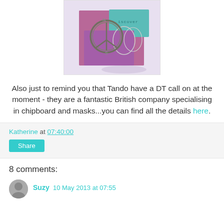[Figure (photo): Photo of craft items including a large metallic peace sign/compass charm, hoop earrings, and colorful mixed-media background with purple/pink/teal colors and text 'discover']
Also just to remind you that Tando have a DT call on at the moment - they are a fantastic British company specialising in chipboard and masks...you can find all the details here.
Katherine at 07:40:00
Share
8 comments:
Suzy 10 May 2013 at 07:55